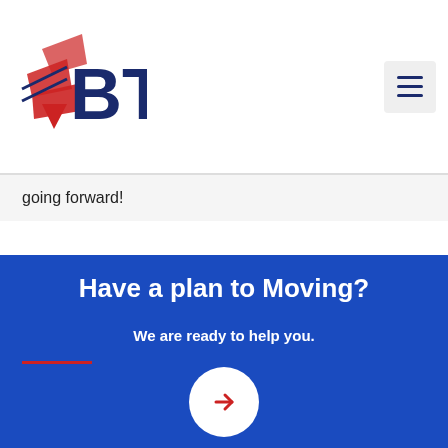[Figure (logo): BTC moving company logo with red and blue arrow/box design and bold blue BTC text]
going forward!
Have a plan to Moving?
We are ready to help you.
[Figure (other): White circle with red right-arrow button on blue background]